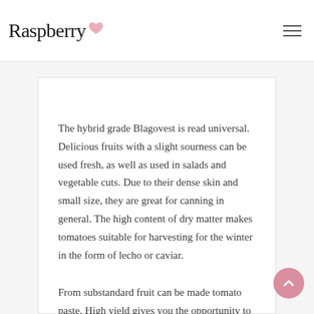Raspberry
The hybrid grade Blagovest is read universal. Delicious fruits with a slight sourness can be used fresh, as well as used in salads and vegetable cuts. Due to their dense skin and small size, they are great for canning in general. The high content of dry matter makes tomatoes suitable for harvesting for the winter in the form of lecho or caviar.
From substandard fruit can be made tomato paste. High yield gives you the opportunity to try a variety of preparations from the tomato, the recipes of which you will find in the articles: